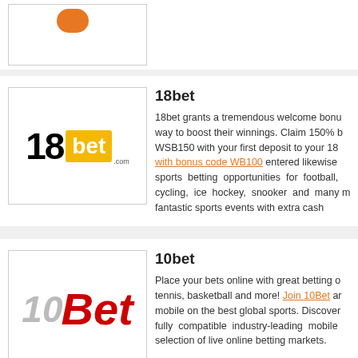[Figure (logo): Partial top card with orange logo badge visible]
[Figure (logo): 18bet logo — black '18' with yellow 'bet' box]
18bet
18bet grants a tremendous welcome bonus way to boost their winnings. Claim 150% b... WSB150 with your first deposit to your 18b... with bonus code WB100 entered likewise sports betting opportunities for football, cycling, ice hockey, snooker and many m... fantastic sports events with extra cash
[Figure (logo): 10Bet logo — grey/silver italic '10' with red italic 'Bet']
10bet
Place your bets online with great betting o... tennis, basketball and more! Join 10Bet a... mobile on the best global sports. Discover fully compatible industry-leading mobile... selection of live online betting markets.